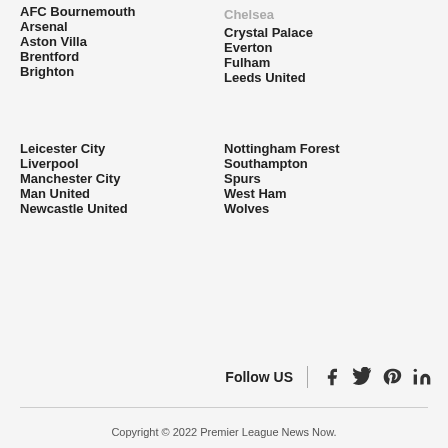Chelsea
AFC Bournemouth
Crystal Palace
Arsenal
Everton
Aston Villa
Fulham
Brentford
Leeds United
Brighton
Leicester City
Nottingham Forest
Liverpool
Southampton
Manchester City
Spurs
Man United
West Ham
Newcastle United
Wolves
Follow US
Copyright © 2022 Premier League News Now.